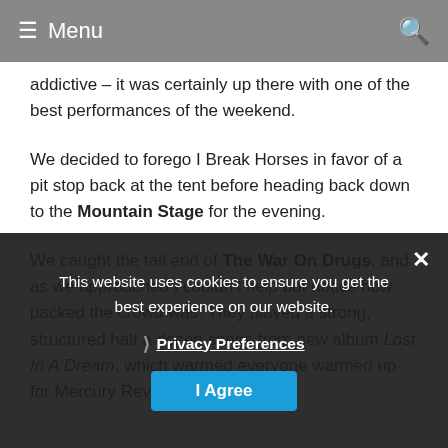≡ Menu
addictive – it was certainly up there with one of the best performances of the weekend.
We decided to forego I Break Horses in favor of a pit stop back at the tent before heading back down to the Mountain Stage for the evening.
We caught the tail end of The War On Drugs, and as we approached I couldn't help but notice how packed the crowd was. They played a strong, structured half a dozen songs from new album Lost In A Dream, which warmed everyone warmed up for Mercury Rev.
This website uses cookies to ensure you get the best experience on our website.
❯ Privacy Preferences
I Agree